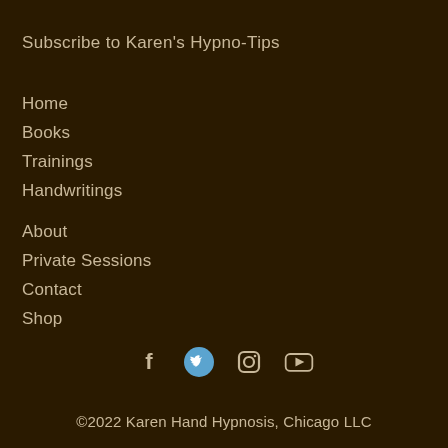Subscribe to Karen's Hypno-Tips
Home
Books
Trainings
Handwritings
About
Private Sessions
Contact
Shop
[Figure (illustration): Social media icons: Facebook, Twitter, Instagram, YouTube]
©2022 Karen Hand Hypnosis, Chicago LLC